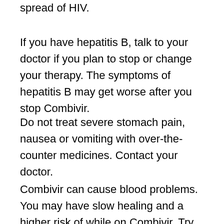spread of HIV.
If you have hepatitis B, talk to your doctor if you plan to stop or change your therapy. The symptoms of hepatitis B may get worse after you stop Combivir.
Do not treat severe stomach pain, nausea or vomiting with over-the-counter medicines. Contact your doctor.
Combivir can cause blood problems. You may have slow healing and a higher risk of while on Combivir. Try to avoid cutting or injuring yourself. Be careful not to damage to your teeth and gums when you brush or floss your teeth.